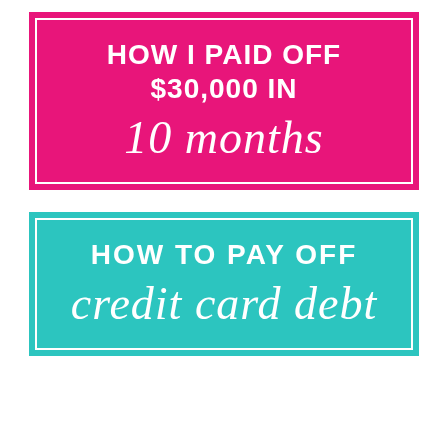[Figure (infographic): Pink background card with white border containing text 'HOW I PAID OFF $30,000 in' in bold uppercase and '10 months' in italic script, all in white on hot pink background]
[Figure (infographic): Teal background card with white border containing text 'HOW TO PAY OFF' in bold uppercase and 'credit card debt' in italic script, all in white on teal/cyan background]